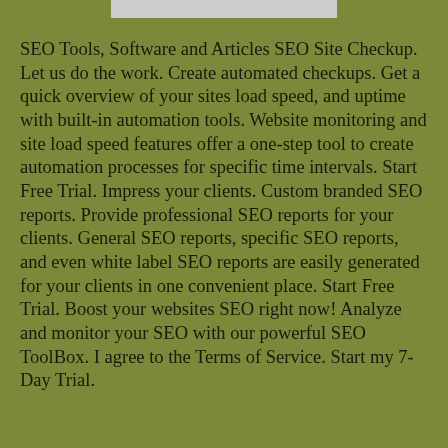[Figure (other): Partial image strip at top of page]
SEO Tools, Software and Articles SEO Site Checkup. Let us do the work. Create automated checkups. Get a quick overview of your sites load speed, and uptime with built-in automation tools. Website monitoring and site load speed features offer a one-step tool to create automation processes for specific time intervals. Start Free Trial. Impress your clients. Custom branded SEO reports. Provide professional SEO reports for your clients. General SEO reports, specific SEO reports, and even white label SEO reports are easily generated for your clients in one convenient place. Start Free Trial. Boost your websites SEO right now! Analyze and monitor your SEO with our powerful SEO ToolBox. I agree to the Terms of Service. Start my 7-Day Trial.